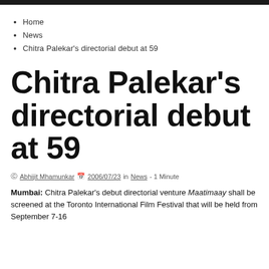Home
News
Chitra Palekar's directorial debut at 59
Chitra Palekar's directorial debut at 59
Abhijit Mhamunkar  2006/07/23  in News - 1 Minute
Mumbai: Chitra Palekar's debut directorial venture Maatimaay shall be screened at the Toronto International Film Festival that will be held from September 7-16